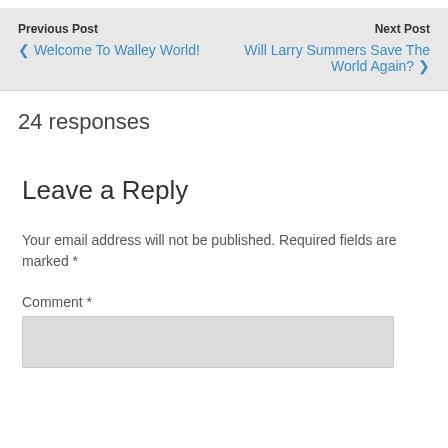Previous Post | Next Post | ❮ Welcome To Walley World! | Will Larry Summers Save The World Again? ❯
24 responses
Leave a Reply
Your email address will not be published. Required fields are marked *
Comment *